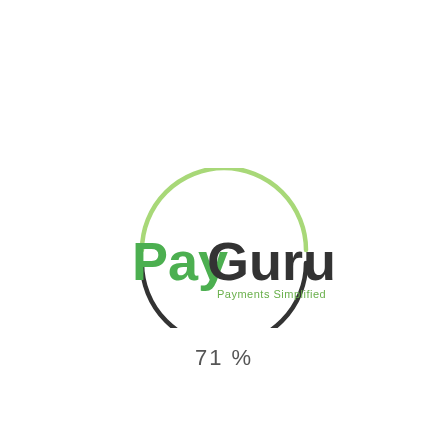[Figure (logo): PayGuru logo: green 'Pay' and dark grey 'Guru' text with a decorative circle arc above in light green and a dark arc below. Tagline 'Payments Simplified' in small green text.]
71%